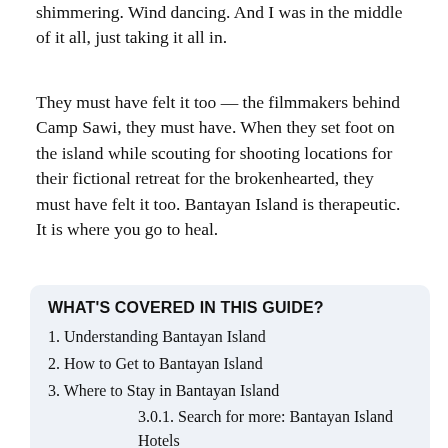shimmering. Wind dancing. And I was in the middle of it all, just taking it all in.
They must have felt it too — the filmmakers behind Camp Sawi, they must have. When they set foot on the island while scouting for shooting locations for their fictional retreat for the brokenhearted, they must have felt it too. Bantayan Island is therapeutic. It is where you go to heal.
WHAT'S COVERED IN THIS GUIDE?
1. Understanding Bantayan Island
2. How to Get to Bantayan Island
3. Where to Stay in Bantayan Island
3.0.1. Search for more: Bantayan Island Hotels